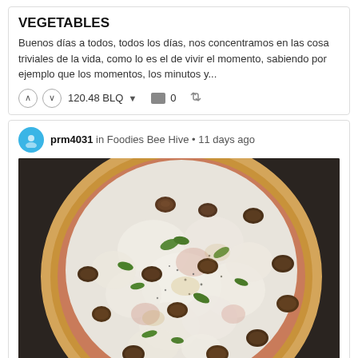VEGETABLES
Buenos días a todos, todos los días, nos concentramos en las cosa triviales de la vida, como lo es el de vivir el momento, sabiendo por ejemplo que los momentos, los minutos y...
120.48 BLQ  0
prm4031 in Foodies Bee Hive • 11 days ago
[Figure (photo): A pizza with melted white cheese, dark olives, green herbs/spinach leaves, and seasoning, placed on a black baking tray on a rack.]